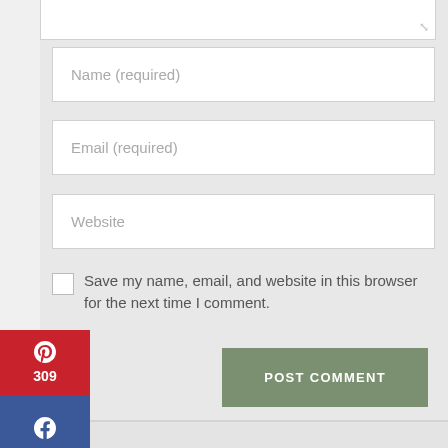[Figure (screenshot): Web form screenshot showing Name (required), Email (required), Website input fields, a checkbox with label 'Save my name, email, and website in this browser for the next time I comment.', a POST COMMENT button, and a social sharing sidebar with Pinterest (309), Facebook, and Twitter buttons on the left.]
Name (required)
Email (required)
Website
Save my name, email, and website in this browser for the next time I comment.
POST COMMENT
309